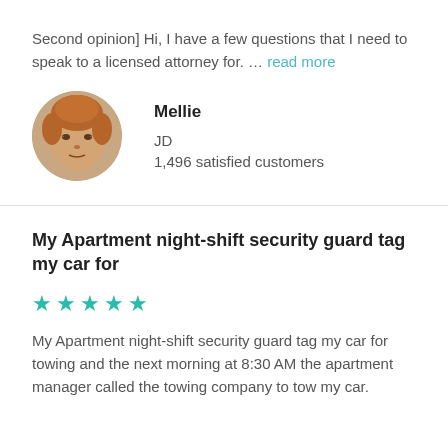Second opinion] Hi, I have a few questions that I need to speak to a licensed attorney for. … read more
[Figure (photo): Circular portrait photo of an older woman named Mellie with reddish-brown hair]
Mellie
JD
1,496 satisfied customers
My Apartment night-shift security guard tag my car for
★★★★★
My Apartment night-shift security guard tag my car for towing and the next morning at 8:30 AM the apartment manager called the towing company to tow my car.